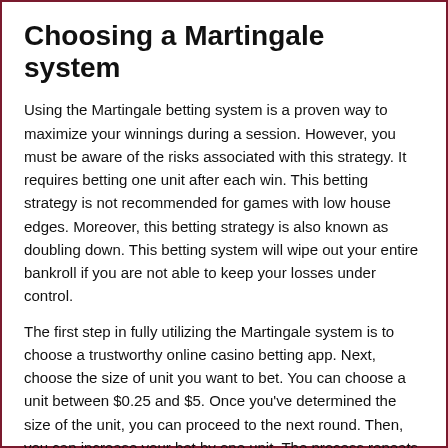Choosing a Martingale system
Using the Martingale betting system is a proven way to maximize your winnings during a session. However, you must be aware of the risks associated with this strategy. It requires betting one unit after each win. This betting strategy is not recommended for games with low house edges. Moreover, this betting strategy is also known as doubling down. This betting system will wipe out your entire bankroll if you are not able to keep your losses under control.
The first step in fully utilizing the Martingale system is to choose a trustworthy online casino betting app. Next, choose the size of unit you want to bet. You can choose a unit between $0.25 and $5. Once you've determined the size of the unit, you can proceed to the next round. Then, you can increase your bet by one unit. The process repeats until you reach a predetermined level of betting...